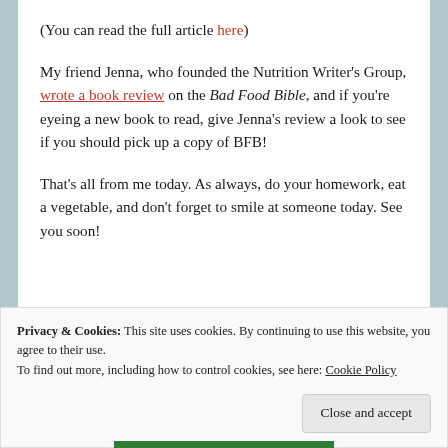(You can read the full article here)
My friend Jenna, who founded the Nutrition Writer's Group, wrote a book review on the Bad Food Bible, and if you're eyeing a new book to read, give Jenna's review a look to see if you should pick up a copy of BFB!
That's all from me today. As always, do your homework, eat a vegetable, and don't forget to smile at someone today. See you soon!
Privacy & Cookies: This site uses cookies. By continuing to use this website, you agree to their use. To find out more, including how to control cookies, see here: Cookie Policy